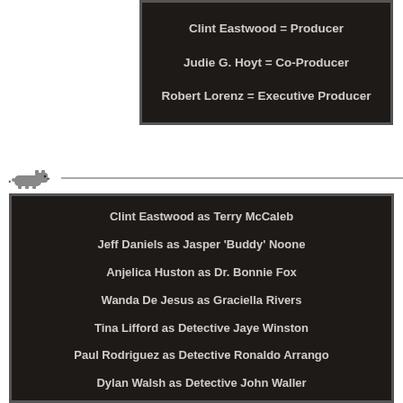Clint Eastwood = Producer
Judie G. Hoyt = Co-Producer
Robert Lorenz = Executive Producer
[Figure (illustration): Small pixel-art wombat icon followed by a horizontal divider line]
Clint Eastwood as Terry McCaleb
Jeff Daniels as Jasper 'Buddy' Noone
Anjelica Huston as Dr. Bonnie Fox
Wanda De Jesus as Graciella Rivers
Tina Lifford as Detective Jaye Winston
Paul Rodriguez as Detective Ronaldo Arrango
Dylan Walsh as Detective John Waller